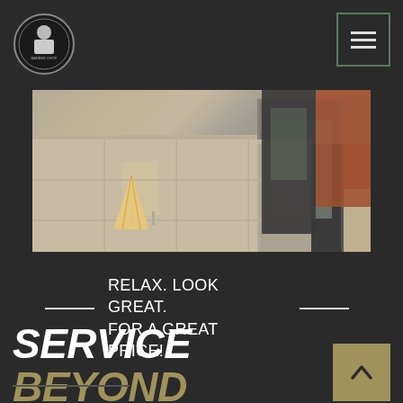[Figure (logo): Circular barber shop logo with ornate design on dark background]
[Figure (illustration): Hamburger/menu icon in teal-bordered box]
[Figure (photo): Exterior photo of a barbershop storefront showing sidewalk, entrance door, A-frame sign, and brick wall]
RELAX. LOOK GREAT. FOR A GREAT PRICE!
SERVICE BEYOND EXPECTATION